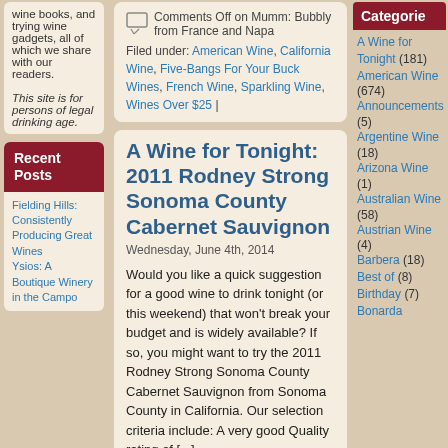wine books, and trying wine gadgets, all of which we share with our readers.
This site is for persons of legal drinking age.
Recent Posts
Fielding Hills: Consistently Producing Great Wines Ysios: A Boutique Winery in the Campo
Comments Off on Mumm: Bubbly from France and Napa
Filed under: American Wine, California Wine, Five-Bangs For Your Buck Wines, French Wine, Sparkling Wine, Wines Over $25
A Wine for Tonight: 2011 Rodney Strong Sonoma County Cabernet Sauvignon
Wednesday, June 4th, 2014
Would you like a quick suggestion for a good wine to drink tonight (or this weekend) that won't break your budget and is widely available? If so, you might want to try the 2011 Rodney Strong Sonoma County Cabernet Sauvignon from Sonoma County in California. Our selection criteria include: A very good Quality rating of [...]
Comments Off on A Wine for Tonight: 2011
Categories
A Wine for Tonight (181)
American Wine (674)
Announcements (5)
Argentine Wine (18)
Arizona Wine (1)
Australian Wine (58)
Austrian Wine (4)
Barbera (18)
Best of (8)
Birthday (7)
Bonarda